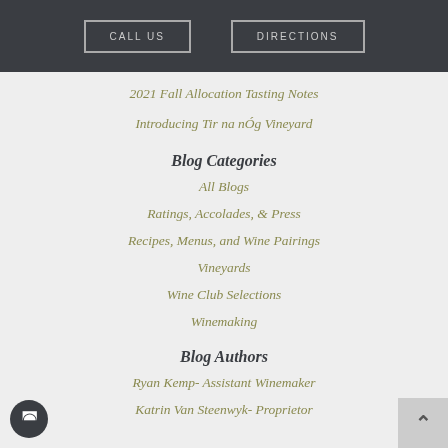CALL US | DIRECTIONS
2021 Fall Allocation Tasting Notes
Introducing Tir na nÓg Vineyard
Blog Categories
All Blogs
Ratings, Accolades, & Press
Recipes, Menus, and Wine Pairings
Vineyards
Wine Club Selections
Winemaking
Blog Authors
Ryan Kemp- Assistant Winemaker
Katrin Van Steenwyk- Proprietor